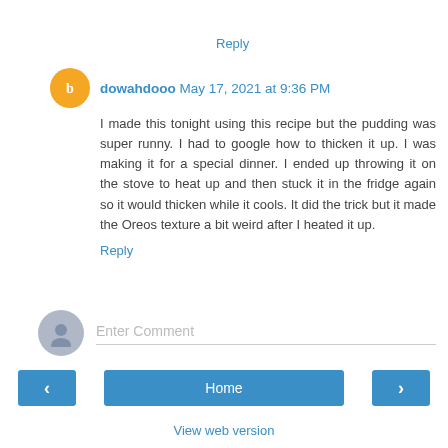Reply
dowahdooo May 17, 2021 at 9:36 PM
I made this tonight using this recipe but the pudding was super runny. I had to google how to thicken it up. I was making it for a special dinner. I ended up throwing it on the stove to heat up and then stuck it in the fridge again so it would thicken while it cools. It did the trick but it made the Oreos texture a bit weird after I heated it up.
Reply
Enter Comment
Home
View web version